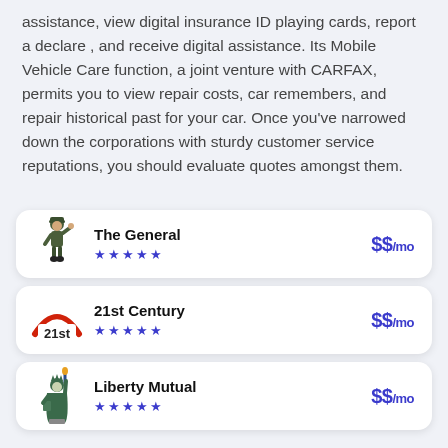assistance, view digital insurance ID playing cards, report a declare , and receive digital assistance. Its Mobile Vehicle Care function, a joint venture with CARFAX, permits you to view repair costs, car remembers, and repair historical past for your car. Once you've narrowed down the corporations with sturdy customer service reputations, you should evaluate quotes amongst them.
[Figure (infographic): Insurance company card: The General, 5-star rating, $$/mo]
[Figure (infographic): Insurance company card: 21st Century, 5-star rating, $$/mo]
[Figure (infographic): Insurance company card: Liberty Mutual, 5-star rating, $$/mo]